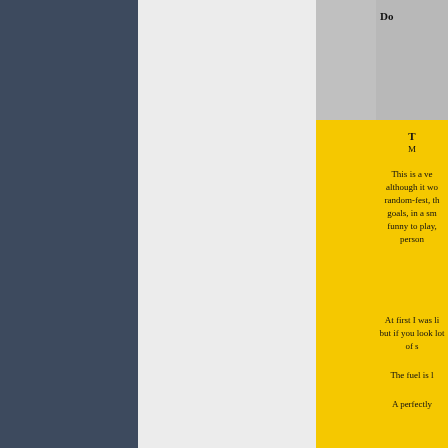Do
T
M
This is a ve although it wo random-fest, th goals, in a sm funny to play, person
[Figure (illustration): A purple/violet rounded square die with black dots showing six pips, with a small 'z' or '2' label above it, inside a dark border box]
At first I was li but if you look lot of s
The fuel is l
A perfectly
Do